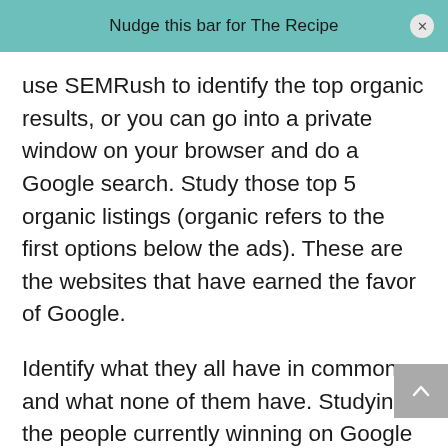Nudge this bar for The Recipe
use SEMRush to identify the top organic results, or you can go into a private window on your browser and do a Google search. Study those top 5 organic listings (organic refers to the first options below the ads). These are the websites that have earned the favor of Google.
Identify what they all have in common, and what none of them have. Studying the people currently winning on Google gives you a roadmap on what must be there to rank and where there are holes for you to provide unique value. Make this a standard step in your writing process.